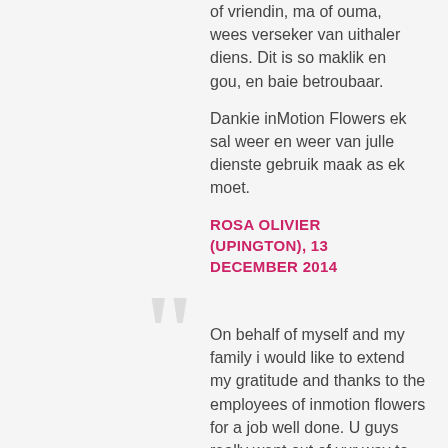of vriendin, ma of ouma, wees verseker van uithaler diens. Dit is so maklik en gou, en baie betroubaar.
Dankie inMotion Flowers ek sal weer en weer van julle dienste gebruik maak as ek moet.
ROSA OLIVIER (UPINGTON), 13 DECEMBER 2014
On behalf of myself and my family i would like to extend my gratitude and thanks to the employees of inmotion flowers for a job well done. U guys really went out of yur way to make this day speacial for us, i am very impressed with everything that u have done.